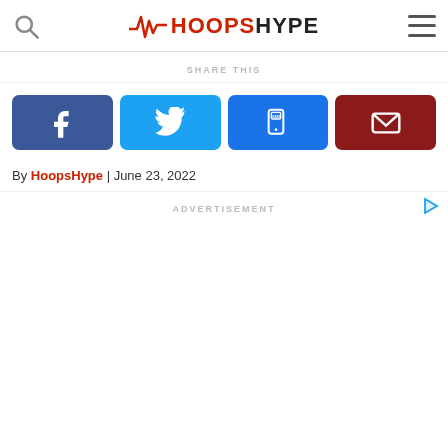HoopsHype
SHARE THIS
[Figure (other): Four social share buttons: Facebook (blue), Twitter (cyan), SMS (blue), Email (dark red)]
By HoopsHype | June 23, 2022
ADVERTISEMENT